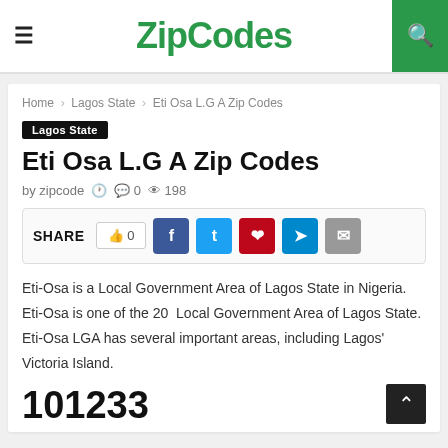ZipCodes
Home > Lagos State > Eti Osa L.G A Zip Codes
Lagos State
Eti Osa L.G A Zip Codes
by zipcode   0   198
SHARE   0  f  t  p  telegram  email
Eti-Osa is a Local Government Area of Lagos State in Nigeria. Eti-Osa is one of the 20 Local Government Area of Lagos State. Eti-Osa LGA has several important areas, including Lagos' Victoria Island.
101233